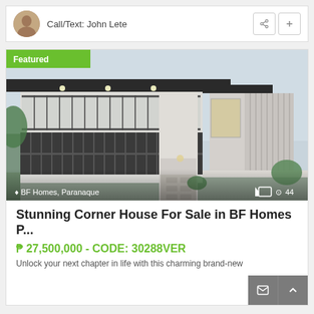Call/Text: John Lete
[Figure (photo): Modern two-storey corner house with flat roof, balcony with metal railings, large gate, and landscaping. Featured badge overlay top-left. Location overlay bottom-left: BF Homes, Paranaque. Camera icon and 44 photos indicator bottom-right.]
Stunning Corner House For Sale in BF Homes P...
₱ 27,500,000 - CODE: 30288VER
Unlock your next chapter in life with this charming brand-new